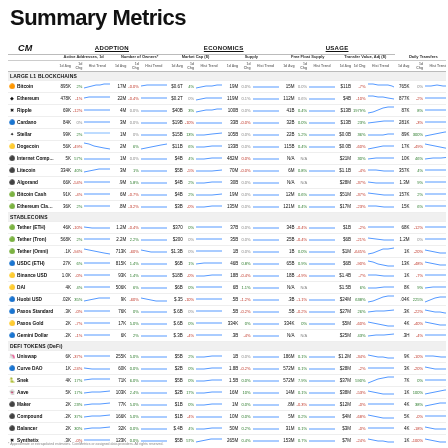Summary Metrics
|  | Coin | Active Addr 1d Avg | 1d Chg | Hist Trend | Num Owners Avg | 1d Chg | Hist Trend | Mkt Cap Avg | 1d Chg | Hist Trend | Supply Avg | 1d Chg | Hist Trend | Free Float Avg | 1d Chg | Hist Trend | Transfer Val Avg | 1d Chg | Hist Trend | Daily Xfers Avg | 1d Chg | Hist Trend |
| --- | --- | --- | --- | --- | --- | --- | --- | --- | --- | --- | --- | --- | --- | --- | --- | --- | --- | --- | --- | --- | --- | --- |
| LARGE L1 BLOCKCHAINS |
| 🟠 | Bitcoin | 895K | 2% | ~ | 17M | -0.0% | ~ | $0.6T | 4% | ~ | 19M | 0.0% | ~ | 15M | 0.0% | ~ | $11B | -7% | ~ | 765K | 0% | ~ |
| ◆ | Ethereum | 478K | -1% | ~ | 22M | -0.4% | ~ | $0.2T | 0% | ~ | 119M | 0.1% | ~ | 112M | 0.6% | ~ | $4B | -10% | ~ | 877K | -2% | ~ |
| ✖ | Ripple | 69K | -12% | ~ | 4M | 0.0% | ~ | $40B | 3% | ~ | 100B | 0.0% | ~ | 41B | 0.4% | ~ | $13B | 1979% | ~ | 87K | 8% | ~ |
| 🔵 | Cardano | 84K | 0% | ~ | 3M | 0.0% | ~ | $19B | -10% | ~ | 33B | -0.0% | ~ | 32B | 0.0% | ~ | $13B | 23% | ~ | 281K | -3% | ~ |
| ✦ | Stellar | 99K | 2% | ~ | 1M | 0% | ~ | $15B | 13% | ~ | 105B | 0.0% | ~ | 22B | 5.2% | ~ | $0.0B | 36% | ~ | 89K | 300% | ~ |
| 🟡 | Dogecoin | 56K | -49% | ~ | 2M | 6% | ~ | $11B | 6% | ~ | 133B | 0.0% | ~ | 115B | 0.4% | ~ | $0.0B | -60% | ~ | 17K | -49% | ~ |
| ⚫ | Internet Comp... | 5K | 57% | ~ | 1M | 0.0% | ~ | $4B | 4% | ~ | 482M | 0.0% | ~ | N/A | N/A |  | $21M | 30% | ~ | 10K | 46% | ~ |
| ⚫ | Litecoin | 334K | 40% | ~ | 3M | 1% | ~ | $5B | -5% | ~ | 70M | -0.0% | ~ | 6M | 0.8% | ~ | $1.1B | -4% | ~ | 357K | 4% | ~ |
| ⚫ | Algorand | 66K | -54% | ~ | .9M | 5.8% | ~ | $4B | 2% | ~ | 30B | 0.0% | ~ | N/A | N/A |  | $28M | -37% | ~ | 1.3M | 9% | ~ |
| 🟢 | Bitcoin Cash | 91K | -4% | ~ | 6M | -0.7% | ~ | $4B | 2% | ~ | 19M | 0.0% | ~ | 12M | 0.6% | ~ | $51M | -37% | ~ | 157K | 2% | ~ |
| 🟢 | Ethereum Classic | 36K | 2% | ~ | .8M | -3.2% | ~ | $3B | -0% | ~ | 135M | 0.0% | ~ | 121M | 0.4% | ~ | $17M | -23% | ~ | 15K | 6% | ~ |
| STABLECOINS |
| 🟢 | Tether (ETH) | 46K | -10% | ~ | 1.2M | -0.4% | ~ | $370 | 0% | ~ | 37B | 0.0% | ~ | 34B | -0.4% | ~ | $1B | -2% | ~ | 68K | -12% | ~ |
| 🟢 | Tether (Tron) | 568K | 2% | ~ | 2.2M | 2.2% | ~ | $200 | 0% | ~ | 35B | 0.0% | ~ | 25B | -0.4% | ~ | $6B | -21% | ~ | 1.2M | 0% | ~ |
| 🟢 | Tether (Omni) | .1K | -94% | ~ | 713K | -60% | ~ | $1.3B | 0% | ~ | 1B | 0.0% | ~ | 1B | 0.0% | ~ | $1M | -645% | ~ | 1K | -20% | ~ |
| 🔵 | USDC (ETH) | 27K | 6% | ~ | 815K | 1.4% | ~ | $6B | 1% | ~ | 46B | 0.8% | ~ | 65B | 0.9% | ~ | $6B | -90% | ~ | 13K | -48% | ~ |
| 🟡 | Binance USD | 1.0K | -0% | ~ | 93K | 1.4% | ~ | $18B | -0% | ~ | 18B | -0.4% | ~ | 18B | -4.9% | ~ | $1.4B | -7% | ~ | 1K | -7% | ~ |
| 🟡 | DAI | 4K | 4% | ~ | 506K | 6% | ~ | $6B | 0% | ~ | 6B | 1.1% | ~ | N/A | N/A |  | $1.5B | 6% | ~ | 8K | 9% | ~ |
| 🔵 | Huobi USD | .02K | 35% | ~ | 9K | -60% | ~ | $.35 | -10% | ~ | .5B | -1.2% | ~ | .3B | -1.1% | ~ | $24M | 638% | ~ | .04K | 225% | ~ |
| 🔵 | Paxos Standard | .3K | -0% | ~ | 76K | 0% | ~ | $.6B | 0% | ~ | .5B | -0.2% | ~ | .5B | -0.2% | ~ | $27M | 26% | ~ | .3K | -22% | ~ |
| 🟡 | Paxos Gold | 2K | -7% | ~ | 17K | 5.0% | ~ | $.6B | 0% | ~ | 334K | 0% | ~ | 334K | 0% | ~ | $5M | -60% | ~ | 4K | -40% | ~ |
| 🔵 | Gemini Dollar | .2K | -1% | ~ | 6K | 2% | ~ | $.3B | -4% | ~ | .3B | -4% | ~ | N/A | N/A |  | $25M | 43% | ~ | .3H | -4% | ~ |
| DEFI TOKENS (DeFi) |
| 🦄 | Uniswap | 6K | -37% | ~ | 255K | 5.0% | ~ | $5B | 2% | ~ | 1B | 0.0% | ~ | 186M | 0.1% | ~ | $1.2M | -34% | ~ | 9K | -10% | ~ |
| 🔵 | Curve DAO | 1K | -24% | ~ | 60K | 0.0% | ~ | $2B | 0% | ~ | 1.8B | -0.2% | ~ | 572M | 0.1% | ~ | $28M | -2% | ~ | 3K | -20% | ~ |
| 🐍 | Snek | 4K | 17% | ~ | 71K | 6.0% | ~ | $5B | 0% | ~ | 1.5B | 0.0% | ~ | 572M | 7.9% | ~ | $37M | 590% | ~ | 7K | 0% | ~ |
| 👻 | Aave | 5K | 17% | ~ | 103K | 2.4% | ~ | $2B | 17% | ~ | 16M | 10% | ~ | 14M | 0.1% | ~ | $38M | -53% | ~ | 1K | 100% | ~ |
| ⚫ | Maker | 2K | 23% | ~ | 77K | 5.0% | ~ | $1B | 0% | ~ | 1M | 0.0% | ~ | .8M | -0.3% | ~ | $12M | -0% | ~ | 4K | 38% | ~ |
| ⚫ | Compound | .2K | 37% | ~ | 166K | 5.0% | ~ | $1B | -4% | ~ | 10M | 0.0% | ~ | 5M | 0.2% | ~ | $4M | -68% | ~ | 5K | -0% | ~ |
| ⚫ | Balancer | 2K | 30% | ~ | 32K | 0.0% | ~ | $.4B | 4% | ~ | 50M | 0.2% | ~ | 31M | 0.1% | ~ | $3M | -0% | ~ | 4K | -18% | ~ |
| ✖ | Synthetix | .3K | -0% | ~ | 123K | 0.0% | ~ | $5B | 57% | ~ | 265M | 0.4% | ~ | 153M | 0.7% | ~ | $7M | -24% | ~ | 1K | -100% | ~ |
| 🟠 | Wrapped Bitcoin | .8K | 19% | ~ | 37K | 1.4% | ~ | $8B | 4% | ~ | 273K | -0.0% | ~ | N/A | N/A |  | $1.6B | -37% | ~ | 3K | -0% | ~ |
| ◆ | Wrapped Ether | 15K | 0% | ~ | 249K | 3.4% | ~ | $11B | 0% | ~ | 6M | -1.0% | ~ | N/A | N/A |  | $3.1B | -37% | ~ | 75K | -0% | ~ |
| ▲ | Lido Staked ETH | 5K | -20% | ~ | N/A | N/A |  | N/A | N/A |  | 6.2M | 0% | ~ | N/A | N/A |  | N/A | N/A |  | 1K | -28% | ~ |
| ERC20 TOKENS/OTHER |
| 🟣 | Polygon | 2K | -10% | ~ | 382K | 3.4% | ~ | $6B | 0% | ~ | 10B | 0.0% | ~ | 10B | 0.6% | ~ | $48M | 27% | ~ | 3K | 37% | ~ |
| 🔵 | Chainlink | 2K | -12% | ~ | 540K | 0.2% | ~ | $7B | 0% | ~ | 1B | 0.0% | ~ | 5B | 0.0% | ~ | $43M | 2% | ~ | 3K | -11% | ~ |
| 🔴 | Decentraland | 1K | -60% | ~ | 222K | 0.2% | ~ | $2B | 0% | ~ | 2B | -10% | ~ | N/A | N/A |  | $19M | -12% | ~ | 1K | -21% | ~ |
| 🦅 | Gnosis | 0.4K | 9% | ~ | 13K | 6.0% | ~ | $2B | -4% | ~ | 10M | -4% | ~ | 3M | 0.6% | ~ | $18M | 617% | ~ | 1K | 9% | ~ |
| ▲ | Basic Att. Token | 4K | 19% | ~ | 345K | 3.4% | ~ | $1B | -4% | ~ | 2B | -0.1% | ~ | 1B | -0.7% | ~ | $4M | 0% | ~ | 4K | 0% | ~ |
* Approximate or extrapolated estimates. CoinMetrics or assigned data providers. All rights reserved.